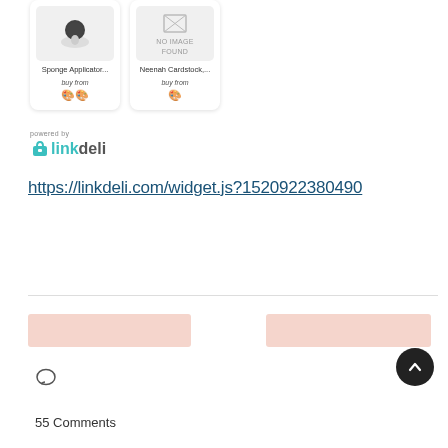[Figure (screenshot): Two product cards: 'Sponge Applicator...' with a sponge image and buy-from emojis, and 'Neenah Cardstock,...' with no image found placeholder and buy-from emoji]
[Figure (logo): Powered by linkdeli logo with teal/gray branding]
https://linkdeli.com/widget.js?1520922380490
[Figure (other): Two pink/salmon colored banner rectangles side by side]
[Figure (other): Dark circular scroll-to-top button with upward arrow]
[Figure (other): Speech bubble / comment icon]
55 Comments